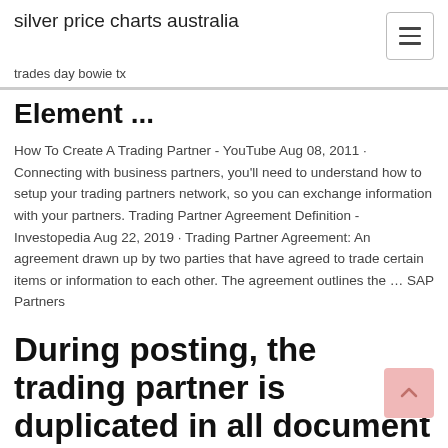silver price charts australia
trades day bowie tx
Element ...
How To Create A Trading Partner - YouTube Aug 08, 2011 · Connecting with business partners, you'll need to understand how to setup your trading partners network, so you can exchange information with your partners. Trading Partner Agreement Definition - Investopedia Aug 22, 2019 · Trading Partner Agreement: An agreement drawn up by two parties that have agreed to trade certain items or information to each other. The agreement outlines the … SAP Partners
During posting, the trading partner is duplicated in all document lines. The